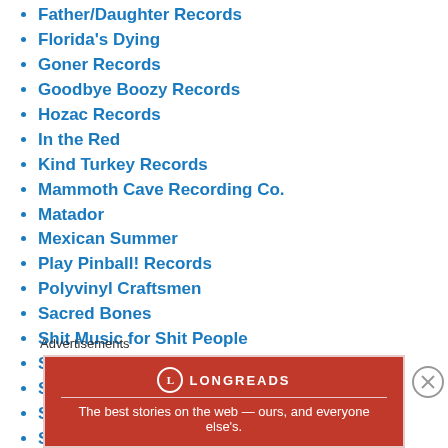Father/Daughter Records
Florida's Dying
Goner Records
Goodbye Boozy Records
Hozac Records
In the Red
Kind Turkey Records
Mammoth Cave Recording Co.
Matador
Mexican Summer
Play Pinball! Records
Polyvinyl Craftsmen
Sacred Bones
Shit Music for Shit People
Siltbreeze
Slumberland
Southpaw Records
Suicide Squeeze Records
Tic Tac Totally
Velocity of Sound Records
Who Can You Trust? Records
Advertisements
[Figure (other): Longreads advertisement banner: red background with Longreads logo and tagline 'The best stories on the web — ours, and everyone else's.']